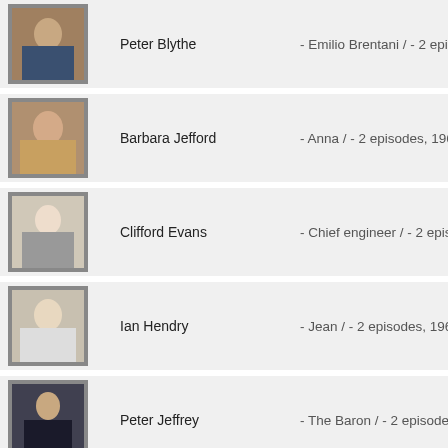[Figure (photo): Headshot photo of Peter Blythe]
Peter Blythe
- Emilio Brentani / - 2 episo...
[Figure (photo): Headshot photo of Barbara Jefford]
Barbara Jefford
- Anna / - 2 episodes, 1965-
[Figure (photo): Headshot photo of Clifford Evans]
Clifford Evans
- Chief engineer / - 2 episod...
[Figure (photo): Headshot photo of Ian Hendry]
Ian Hendry
- Jean / - 2 episodes, 1965 ...
[Figure (photo): Headshot photo of Peter Jeffrey]
Peter Jeffrey
- The Baron / - 2 episodes, ...
[Figure (photo): Headshot photo of Patrick Allen]
Patrick Allen
- Danton / - 2 episodes, 196...
[Figure (photo): Headshot photo of Suzanne Neve]
Suzanne Neve
- Deanie Webb / - 2 episode...